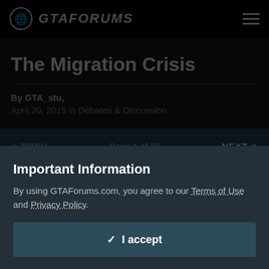GTAFORUMS
The Migration Crisis
By GTA_stu, April 20, 2015 in Debates & Discussion
« PREV  Page 1 of 33  NEXT »
GTA_stu
Important Information
By using GTAForums.com, you agree to our Terms of Use and Privacy Policy.
✓ I accept